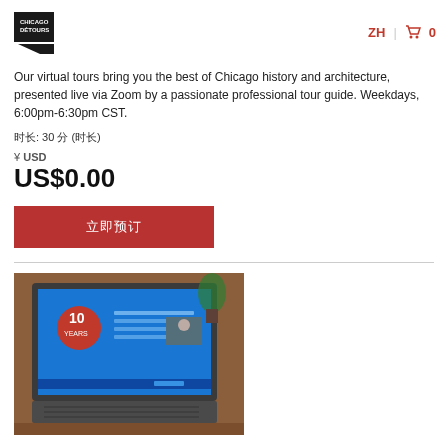Chicago Detours logo | ZH | cart 0
Our virtual tours bring you the best of Chicago history and architecture, presented live via Zoom by a passionate professional tour guide. Weekdays, 6:00pm-6:30pm CST.
时长: 30 分 (时长)
¥ USD
US$0.00
立即预订
[Figure (photo): A laptop on a wooden desk displaying a blue presentation slide with '10 Years' branding, with a plant in the background.]